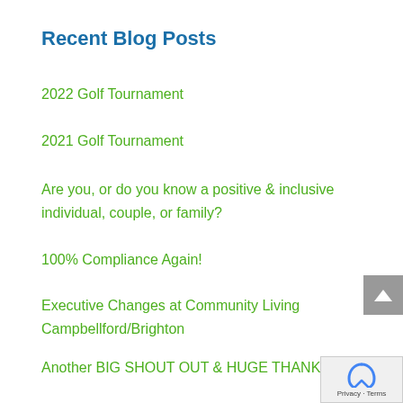Recent Blog Posts
2022 Golf Tournament
2021 Golf Tournament
Are you, or do you know a positive & inclusive individual, couple, or family?
100% Compliance Again!
Executive Changes at Community Living Campbellford/Brighton
Another BIG SHOUT OUT & HUGE THANK YOU!!
Big Shout Out….Huge Thank You!!